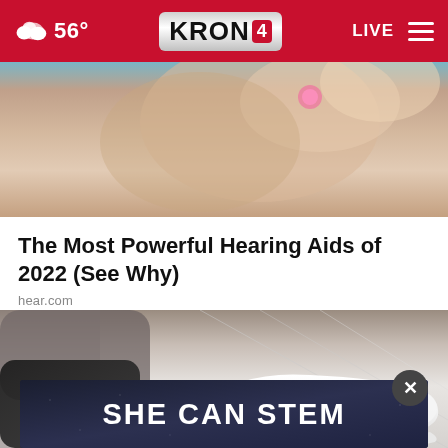56° KRON 4 LIVE
[Figure (photo): Close-up photo of a person's ear with a pink earring, soft skin tones and blurred background]
The Most Powerful Hearing Aids of 2022 (See Why)
hear.com
[Figure (photo): Close-up photo of a person wearing white sneakers on a light wood floor, with a black sleeve visible]
[Figure (infographic): SHE CAN STEM advertisement banner with dark blue/navy background and bold white text]